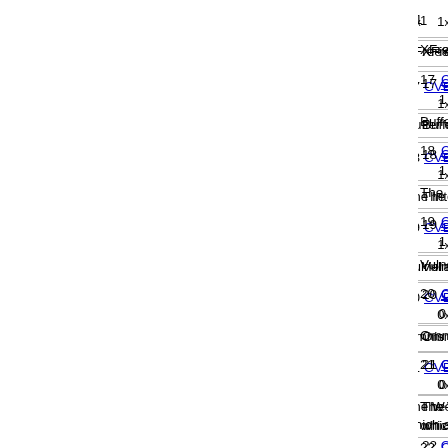1x
XFree86 3.3.x and 4.0 allows a user to cause a denial of
17 CVE-2000-0452 DoS Overflow 2x 1x
Buffer overflow in the ESMTP service of Lotus Domino S
18 CVE-2000-0451 DoS 2x 1x
The Intel express 8100 ISDN router allows remote attack
19 CVE-2000-0450 Exec Code 2x 1x
Vulnerability in bbd server in Big Brother System and Ne
20 CVE-2000-0449 2x 0x
Omnis Studio 2.4 uses weak encryption (trivial encoding)
21 CVE-2000-0448 2x 0x
The WebShield SMTP Management Tool version 4.5.44 which allows remote attackers to access the configuratio
22 CVE-2000-0447 Exec Code Overflow 2x 0x
Buffer overflow in WebShield SMTP 4.5.44 allows remot management service.